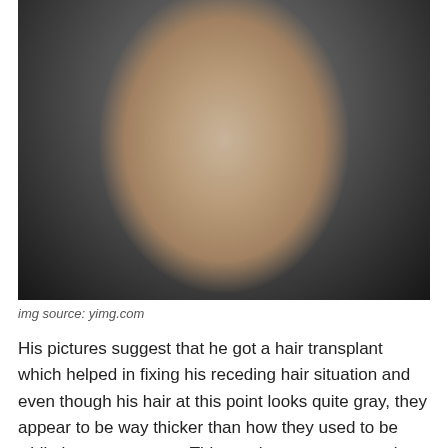[Figure (photo): Close-up photo of a middle-aged man with gray hair wearing a dark suit and black tie, against a blurred background.]
img source: yimg.com
His pictures suggest that he got a hair transplant which helped in fixing his receding hair situation and even though his hair at this point looks quite gray, they appear to be way thicker than how they used to be while he was younger. This can however mean only one move and that is a hair transplant. It is without any doubt that the Ray Liotta plastic surgery rumors and true as evidently, ray has gone through some bad plastic surgery transformation.